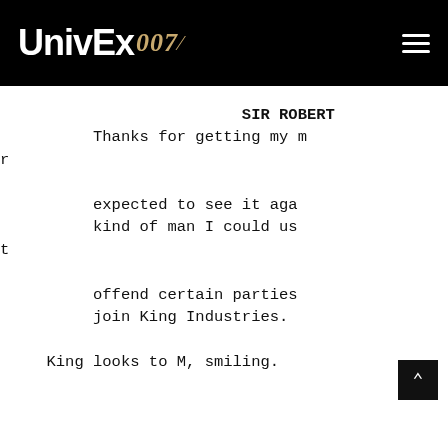UnivEx 007 [navigation logo and hamburger menu]
SIR ROBERT
Thanks for getting my [r]
expected to see it aga[in.]
kind of man I could us[e] [t]
offend certain parties[.]
join King Industries.

King looks to M, smiling.